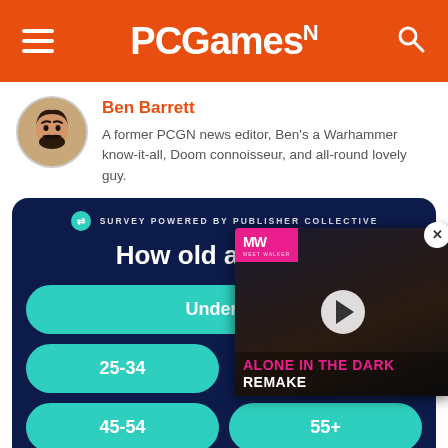PCGamesN
Ben Barrett
A former PCGN news editor, Ben's a Warhammer know-it-all, Doom connoisseur, and all-round lovely guy.
[Figure (screenshot): Survey widget on dark navy background asking 'How old are you?' with teal rounded-button options: Under 18, 25-34, 45-54, 55+, powered by Publisher Collective. Overlaid by a video thumbnail for 'Alone in the Dark Remake'. 4,656 participants shown at bottom.]